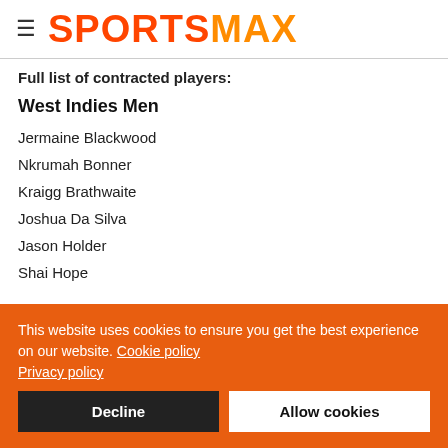SPORTSMAX
Full list of contracted players:
West Indies Men
Jermaine Blackwood
Nkrumah Bonner
Kraigg Brathwaite
Joshua Da Silva
Jason Holder
Shai Hope
This website uses cookies to ensure you get the best experience on our website. Cookie policy Privacy policy
Decline | Allow cookies